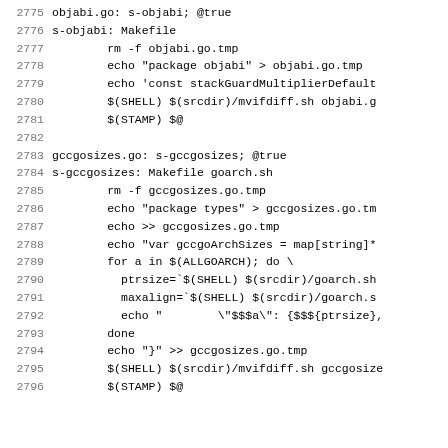2775    objabi.go: s-objabi; @true
2776    s-objabi: Makefile
2777            rm -f objabi.go.tmp
2778            echo "package objabi" > objabi.go.tmp
2779            echo 'const stackGuardMultiplierDefault
2780            $(SHELL) $(srcdir)/mvifdiff.sh objabi.g
2781            $(STAMP) $@
2782
2783    gccgosizes.go: s-gccgosizes; @true
2784    s-gccgosizes: Makefile goarch.sh
2785            rm -f gccgosizes.go.tmp
2786            echo "package types" > gccgosizes.go.tm
2787            echo >> gccgosizes.go.tmp
2788            echo "var gccgoArchSizes = map[string]*
2789            for a in $(ALLGOARCH); do \
2790              ptrsize=`$(SHELL) $(srcdir)/goarch.sh
2791              maxalign=`$(SHELL) $(srcdir)/goarch.s
2792              echo "        \"$$$a\": {$$${ptrsize},
2793            done
2794            echo "}" >> gccgosizes.go.tmp
2795            $(SHELL) $(srcdir)/mvifdiff.sh gccgosize
2796            $(STAMP) $@